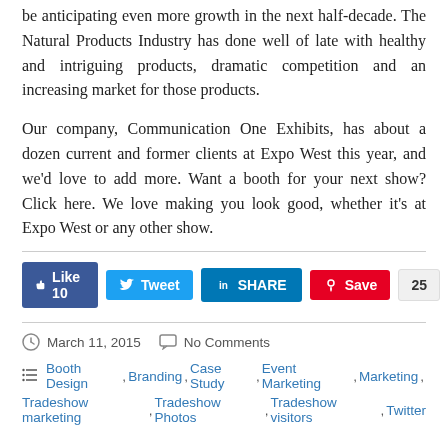be anticipating even more growth in the next half-decade. The Natural Products Industry has done well of late with healthy and intriguing products, dramatic competition and an increasing market for those products.
Our company, Communication One Exhibits, has about a dozen current and former clients at Expo West this year, and we'd love to add more. Want a booth for your next show? Click here. We love making you look good, whether it's at Expo West or any other show.
[Figure (infographic): Social sharing buttons: Like 10 (Facebook blue), Tweet (Twitter blue), SHARE (LinkedIn blue), Save with count 25 (Pinterest red)]
March 11, 2015    No Comments
Booth Design, Branding, Case Study, Event Marketing, Marketing, Tradeshow marketing, Tradeshow Photos, Tradeshow visitors, Twitter